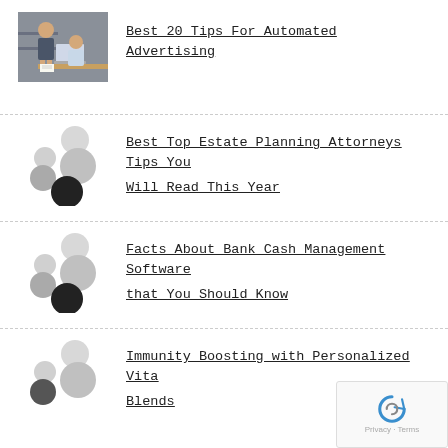[Figure (photo): Two people working together at a laptop on a desk]
Best 20 Tips For Automated Advertising
[Figure (other): Decorative dots placeholder image]
Best Top Estate Planning Attorneys Tips You Will Read This Year
[Figure (other): Decorative dots placeholder image]
Facts About Bank Cash Management Software that You Should Know
[Figure (other): Decorative dots placeholder image]
Immunity Boosting with Personalized Vita Blends